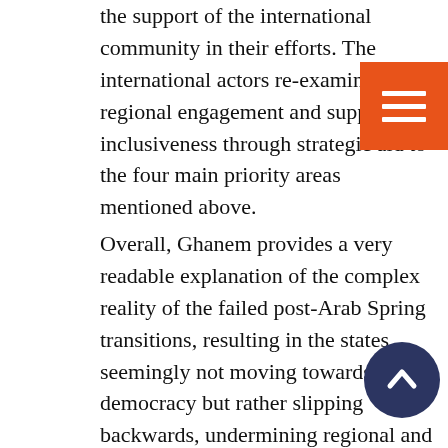the support of the international community in their efforts. The international actors re-examine their regional engagement and support the inclusiveness through strategic aid to the four main priority areas mentioned above.
Overall, Ghanem provides a very readable explanation of the complex reality of the failed post-Arab Spring transitions, resulting in the states seemingly not moving towards democracy but rather slipping backwards, undermining regional and international security through terrorism, the refugee crisis and illegal migration. The book is a must